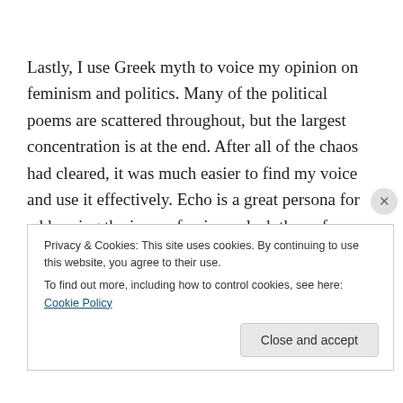Lastly, I use Greek myth to voice my opinion on feminism and politics. Many of the political poems are scattered throughout, but the largest concentration is at the end. After all of the chaos had cleared, it was much easier to find my voice and use it effectively. Echo is a great persona for addressing the issue of voice or lack thereof.
Many of the themes I found in the Greek Mythology could be applied quite easily to things that go on in modern
Privacy & Cookies: This site uses cookies. By continuing to use this website, you agree to their use.
To find out more, including how to control cookies, see here: Cookie Policy
Close and accept